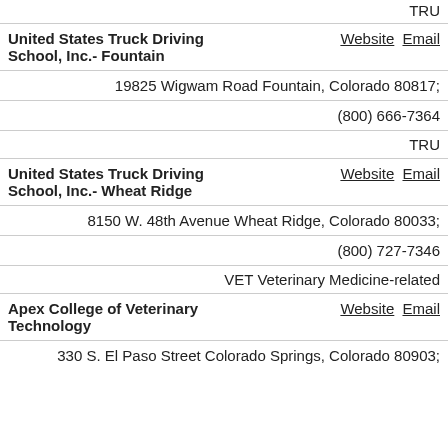TRU
United States Truck Driving School, Inc.-Fountain
19825 Wigwam Road Fountain, Colorado 80817;
(800) 666-7364
TRU
United States Truck Driving School, Inc.-Wheat Ridge
8150 W. 48th Avenue Wheat Ridge, Colorado 80033;
(800) 727-7346
VET Veterinary Medicine-related
Apex College of Veterinary Technology
330 S. El Paso Street Colorado Springs, Colorado 80903;